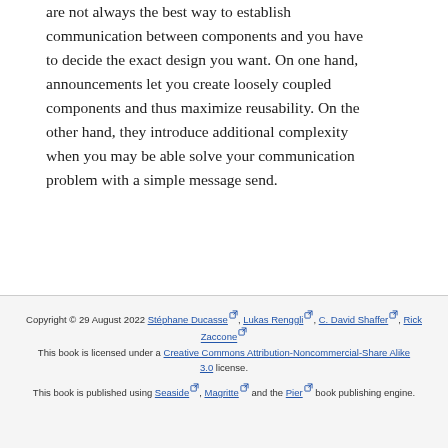are not always the best way to establish communication between components and you have to decide the exact design you want. On one hand, announcements let you create loosely coupled components and thus maximize reusability. On the other hand, they introduce additional complexity when you may be able solve your communication problem with a simple message send.
Copyright © 29 August 2022 Stéphane Ducasse, Lukas Renggli, C. David Shaffer, Rick Zaccone
This book is licensed under a Creative Commons Attribution-Noncommercial-Share Alike 3.0 license.
This book is published using Seaside, Magritte and the Pier book publishing engine.